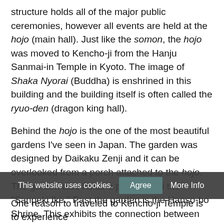structure holds all of the major public ceremonies, however all events are held at the hojo (main hall). Just like the somon, the hojo was moved to Kencho-ji from the Hanju Sanmai-in Temple in Kyoto. The image of Shaka Nyorai (Buddha) is enshrined in this building and the building itself is often called the ryuo-den (dragon king hall).
Behind the hojo is the one of the most beautiful gardens I've seen in Japan. The garden was designed by Daikaku Zenji and it can be overlooked from a porch attached to the hojo. The garden also holds a pond called the "Sanpeki Ike." Past the garden is the Hanso-bo Shrine. This exhibits the connection between temples and shrines, as the shrine is the guardian of Kencho-ji. While Hanso-bo Shrine was originally enshrined at the Hoko-ji Temple in Shizuoka, it was moved to Kencho-ji in 1890 per the request of Zen master Ozora Kando.
Finally, there's the monastery behind a bell tower, which is strictly closed to the public. This monastery is used for the intensive training of monks in Zen meditation. The monastery consists of the Zen-do (meditation hall), the kaisan-do (founder's hall), hon-do (main building), and so on.
One reason to traveled to Kencho-ji Temple is to experience